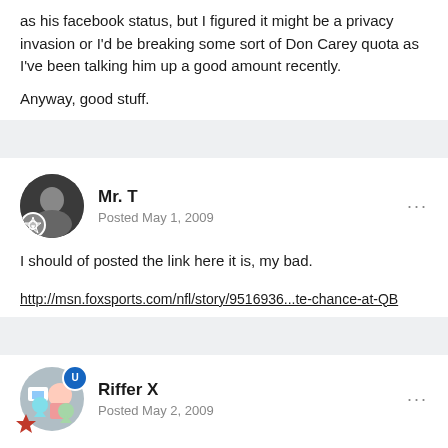I was going to post this also, Don had the same "priceless" line as his facebook status, but I figured it might be a privacy invasion or I'd be breaking some sort of Don Carey quota as I've been talking him up a good amount recently.

Anyway, good stuff.
Mr. T
Posted May 1, 2009

I should of posted the link here it is, my bad.

http://msn.foxsports.com/nfl/story/9516936...te-chance-at-QB
Riffer X
Posted May 2, 2009